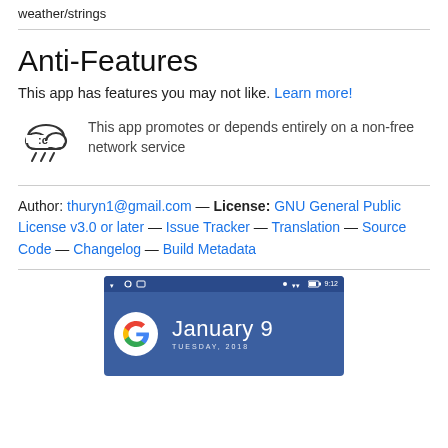weather/strings
Anti-Features
This app has features you may not like. Learn more!
This app promotes or depends entirely on a non-free network service
Author: thuryn1@gmail.com — License: GNU General Public License v3.0 or later — Issue Tracker — Translation — Source Code — Changelog — Build Metadata
[Figure (screenshot): Android phone screenshot showing Google widget and date January 9, Tuesday, 2018]